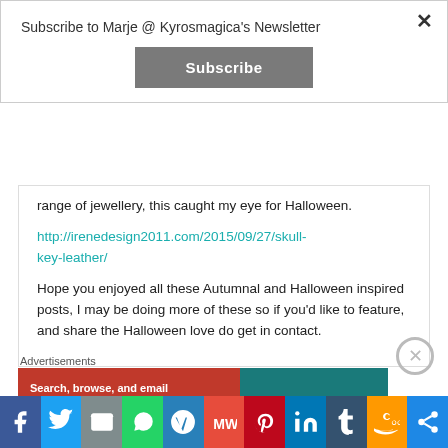Subscribe to Marje @ Kyrosmagica's Newsletter
Subscribe
range of jewellery, this caught my eye for Halloween.
http://irenedesign2011.com/2015/09/27/skull-key-leather/
Hope you enjoyed all these Autumnal and Halloween inspired posts, I may be doing more of these so if you'd like to feature, and share the Halloween love do get in contact.
Advertisements
[Figure (screenshot): Social share buttons bar: Facebook, Twitter, Email, WhatsApp, WordPress, MeWe, Pinterest, LinkedIn, Tumblr, Amazon, Share]